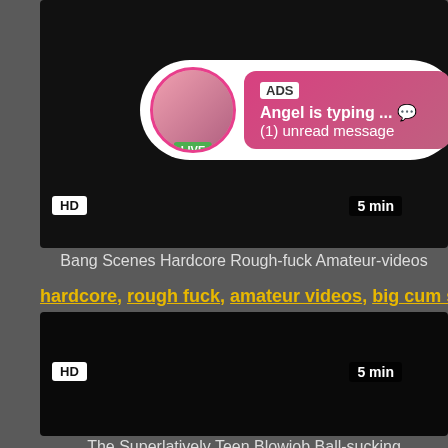[Figure (screenshot): Video thumbnail with ADS overlay bubble showing profile avatar with LIVE badge, ADS label, 'Angel is typing ... 💬' text and '(1) unread message'. HD badge bottom-left, 5 min duration bottom-right.]
Bang Scenes Hardcore Rough-fuck Amateur-videos
hardcore, rough fuck, amateur videos, big cum shot, pus…
[Figure (screenshot): Dark/black video thumbnail. HD badge bottom-left, 5 min duration bottom-right.]
The Superlatively Teen Blowjob Ball-sucking